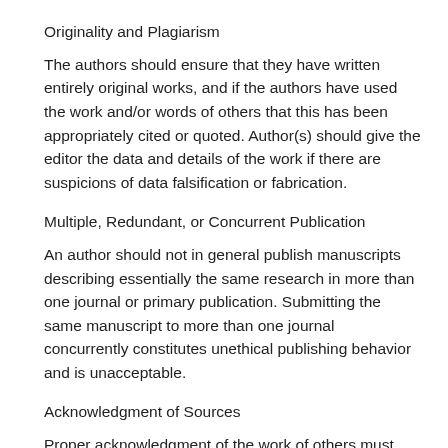Originality and Plagiarism
The authors should ensure that they have written entirely original works, and if the authors have used the work and/or words of others that this has been appropriately cited or quoted. Author(s) should give the editor the data and details of the work if there are suspicions of data falsification or fabrication.
Multiple, Redundant, or Concurrent Publication
An author should not in general publish manuscripts describing essentially the same research in more than one journal or primary publication. Submitting the same manuscript to more than one journal concurrently constitutes unethical publishing behavior and is unacceptable.
Acknowledgment of Sources
Proper acknowledgment of the work of others must always be